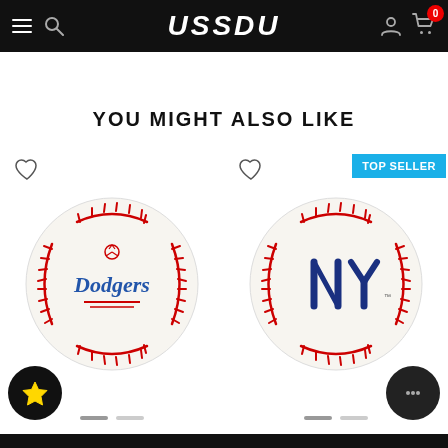USSDU — navigation bar with hamburger, search, logo, user, cart (0)
YOU MIGHT ALSO LIKE
[Figure (photo): LA Dodgers branded baseball with red stitching and Dodgers script logo]
[Figure (photo): New York Yankees branded baseball with red stitching and NY logo, labeled TOP SELLER]